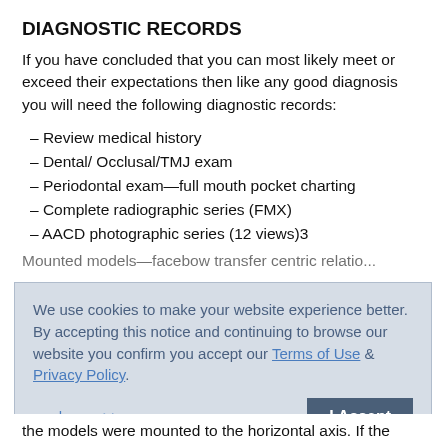DIAGNOSTIC RECORDS
If you have concluded that you can most likely meet or exceed their expectations then like any good diagnosis you will need the following diagnostic records:
– Review medical history
– Dental/ Occlusal/TMJ exam
– Periodontal exam—full mouth pocket charting
– Complete radiographic series (FMX)
– AACD photographic series (12 views)3
Mounted models—facebow transfer centric relatio...
We use cookies to make your website experience better. By accepting this notice and continuing to browse our website you confirm you accept our Terms of Use & Privacy Policy.

read more >>

I Accept
the models were mounted to the horizontal axis. If the